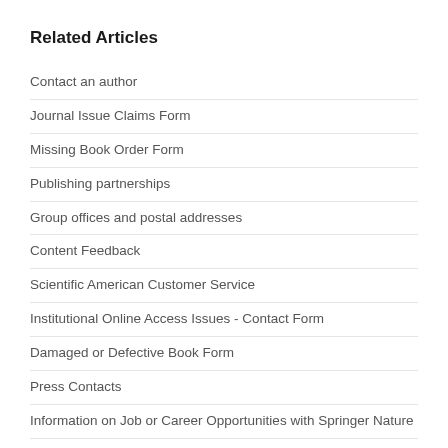Related Articles
Contact an author
Journal Issue Claims Form
Missing Book Order Form
Publishing partnerships
Group offices and postal addresses
Content Feedback
Scientific American Customer Service
Institutional Online Access Issues - Contact Form
Damaged or Defective Book Form
Press Contacts
Information on Job or Career Opportunities with Springer Nature